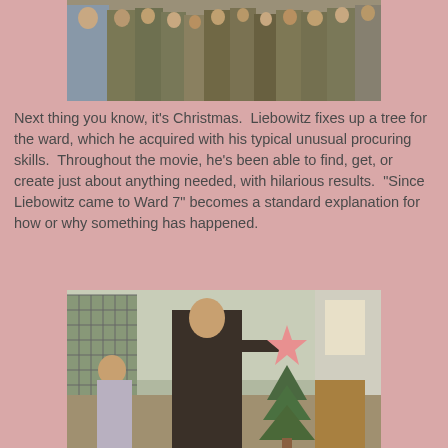[Figure (photo): A film still showing a large group of men in military-style clothing gathered together in what appears to be a corridor or room, with one man in a blue shirt prominent on the left.]
Next thing you know, it's Christmas.  Liebowitz fixes up a tree for the ward, which he acquired with his typical unusual procuring skills.  Throughout the movie, he's been able to find, get, or create just about anything needed, with hilarious results.  "Since Liebowitz came to Ward 7" becomes a standard explanation for how or why something has happened.
[Figure (photo): A film still showing a man in a dark shirt placing or adjusting a pink star on top of a small Christmas tree, with another person visible in the background on the left and a room setting behind.]